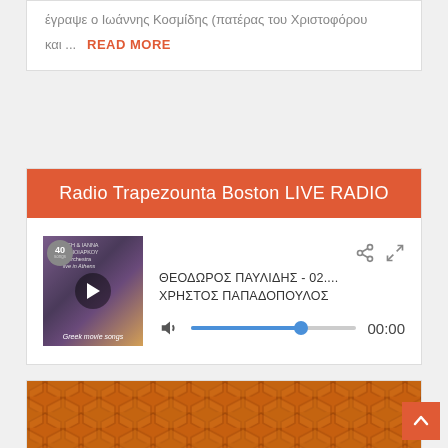έγραψε ο Ιωάννης Κοσμίδης (πατέρας του Χριστοφόρου
και ...
READ MORE
Radio Trapezounta Boston LIVE RADIO
[Figure (screenshot): Album art for Greek movie songs with play button overlay]
ΘΕΟΔΩΡΟΣ ΠΑΥΛΙΔΗΣ - 02....
ΧΡΗΣΤΟΣ ΠΑΠΑΔΟΠΟΥΛΟΣ
00:00
[Figure (photo): Honeycomb background with bee image at bottom of page]